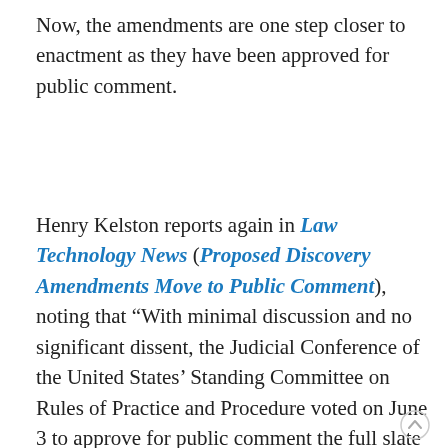Now, the amendments are one step closer to enactment as they have been approved for public comment.
Henry Kelston reports again in Law Technology News (Proposed Discovery Amendments Move to Public Comment), noting that “With minimal discussion and no significant dissent, the Judicial Conference of the United States’ Standing Committee on Rules of Practice and Procedure voted on June 3 to approve for public comment the full slate of proposed amendments” that was previously approved by its Advisory Committee on Civil Rules.